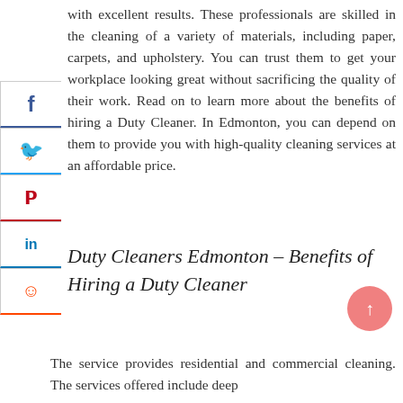with excellent results. These professionals are skilled in the cleaning of a variety of materials, including paper, carpets, and upholstery. You can trust them to get your workplace looking great without sacrificing the quality of their work. Read on to learn more about the benefits of hiring a Duty Cleaner. In Edmonton, you can depend on them to provide you with high-quality cleaning services at an affordable price.
Duty Cleaners Edmonton – Benefits of Hiring a Duty Cleaner
The service provides residential and commercial cleaning. The services offered include deep